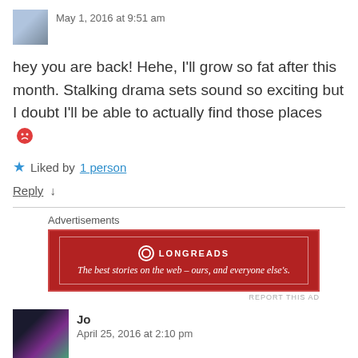May 1, 2016 at 9:51 am
hey you are back! Hehe, I'll grow so fat after this month. Stalking drama sets sound so exciting but I doubt I'll be able to actually find those places 😕
★ Liked by 1 person
Reply ↓
[Figure (other): Longreads advertisement banner: red background with white text 'The best stories on the web – ours, and everyone else's.' with Longreads logo.]
Jo
April 25, 2016 at 2:10 pm